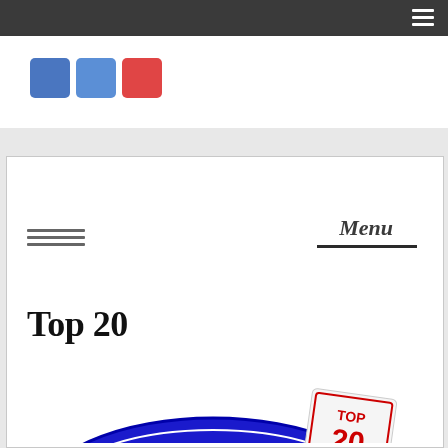[Figure (screenshot): Top navigation bar with dark background and hamburger menu icon on the right]
[Figure (logo): Social media icon buttons: Facebook (blue), Twitter/profile (blue), Email/envelope (red)]
Menu
Top 20
[Figure (logo): Cashbox Radio logo with 'TOP 20 PICK HITS' badge on the right side]